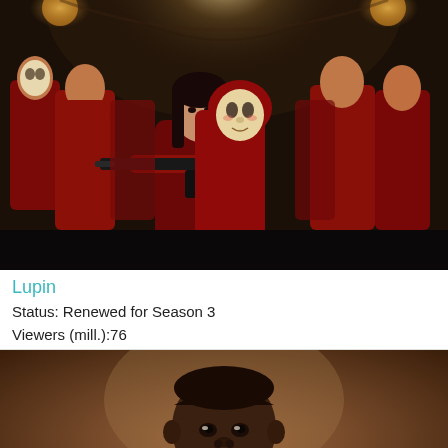[Figure (photo): Scene from Money Heist (La Casa de Papel): multiple people wearing red jumpsuits and Dali masks in a dark arched interior. A central female figure faces camera holding a rifle, with a male figure in red hood and mask behind her.]
Lupin
Status: Renewed for Season 3
Viewers (mill.):76
[Figure (photo): Scene from Lupin: close-up of a Black man in a white dress shirt looking slightly downward, with a warm brownish blurred background.]